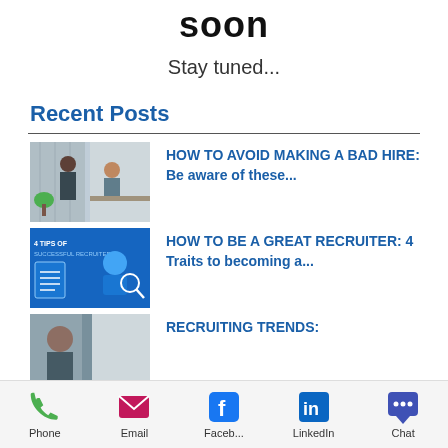soon
Stay tuned...
Recent Posts
[Figure (photo): Thumbnail image of an office interview scene with two people]
HOW TO AVOID MAKING A BAD HIRE: Be aware of these...
[Figure (photo): Blue graphic thumbnail about recruiter traits]
HOW TO BE A GREAT RECRUITER: 4 Traits to becoming a...
[Figure (photo): Thumbnail of a person for recruiting trends article]
RECRUITING TRENDS:
Phone   Email   Faceb...   LinkedIn   Chat